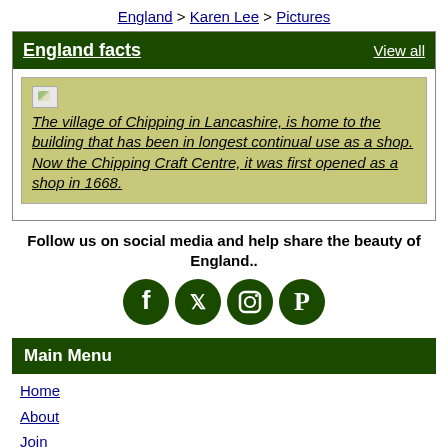England > Karen Lee > Pictures
England facts | View all
The village of Chipping in Lancashire, is home to the building that has been in longest continual use as a shop. Now the Chipping Craft Centre, it was first opened as a shop in 1668.
Follow us on social media and help share the beauty of England..
[Figure (logo): Social media icons: Facebook, Twitter, Instagram, Pinterest in dark green circular buttons]
Main Menu
Home
About
Join
Login
Members List
Upload Images
Latest Pictures